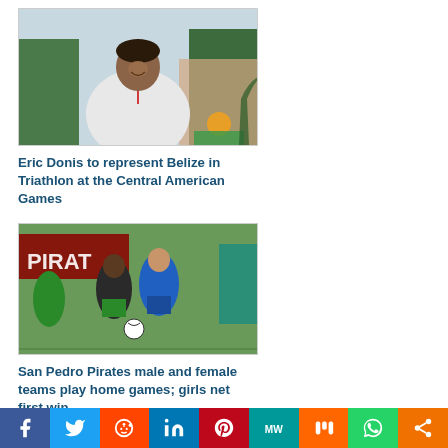[Figure (photo): Young man in white shirt smiling, palm trees in background]
Eric Donis to represent Belize in Triathlon at the Central American Games
[Figure (photo): Female soccer players competing on a field with Pirates banner in background]
San Pedro Pirates male and female teams play home games; girls net first win
[Figure (other): Social media sharing bar: Facebook, Twitter, Reddit, LinkedIn, Pinterest, MeWe, Mix, WhatsApp, More]